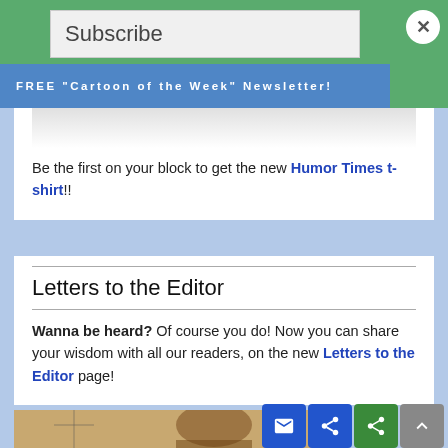Subscribe
FREE "Cartoon of the Week" Newsletter!
Be the first on your block to get the new Humor Times t-shirt!!
Letters to the Editor
Wanna be heard? Of course you do! Now you can share your wisdom with all our readers, on the new Letters to the Editor page!
[Figure (photo): Partial view of a person's head/hair at the bottom of the page]